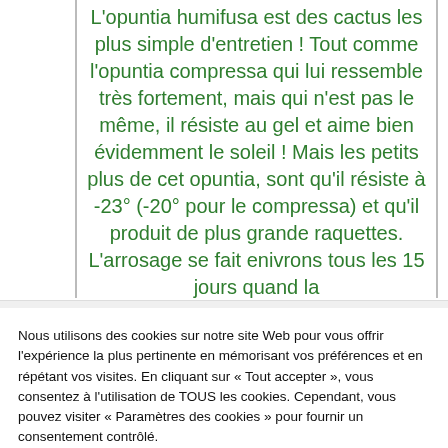L'opuntia humifusa est des cactus les plus simple d'entretien ! Tout comme l'opuntia compressa qui lui ressemble très fortement, mais qui n'est pas le même, il résiste au gel et aime bien évidemment le soleil ! Mais les petits plus de cet opuntia, sont qu'il résiste à -23° (-20° pour le compressa) et qu'il produit de plus grande raquettes. L'arrosage se fait enivrons tous les 15 jours quand la
Nous utilisons des cookies sur notre site Web pour vous offrir l'expérience la plus pertinente en mémorisant vos préférences et en répétant vos visites. En cliquant sur « Tout accepter », vous consentez à l'utilisation de TOUS les cookies. Cependant, vous pouvez visiter « Paramètres des cookies » pour fournir un consentement contrôlé.
Cookie Settings | Tout accepter | Refuser